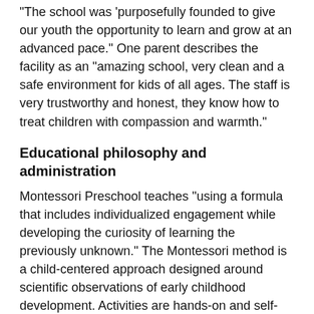"The school was 'purposefully founded to give our youth the opportunity to learn and grow at an advanced pace.' One parent describes the facility as an "amazing school, very clean and a safe environment for kids of all ages. The staff is very trustworthy and honest, they know how to treat children with compassion and warmth."
Educational philosophy and administration
Montessori Preschool teaches “using a formula that includes individualized engagement while developing the curiosity of learning the previously unknown.” The Montessori method is a child-centered approach designed around scientific observations of early childhood development. Activities are hands-on and self-directed, and teachers serve as guides. The classrooms are designed for children to explore and learn